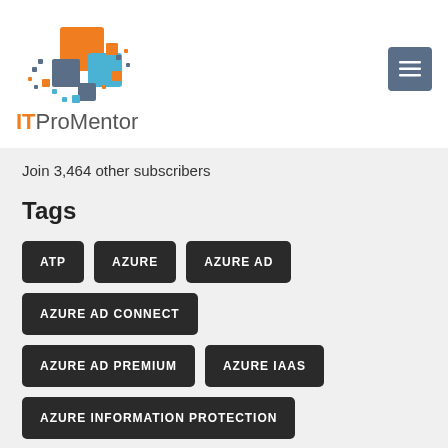[Figure (logo): ITProMentor logo with colorful pixel/square graphic and text]
Join 3,464 other subscribers
Tags
ATP
AZURE
AZURE AD
AZURE AD CONNECT
AZURE AD PREMIUM
AZURE IAAS
AZURE INFORMATION PROTECTION
AZURE SITE RECOVERY